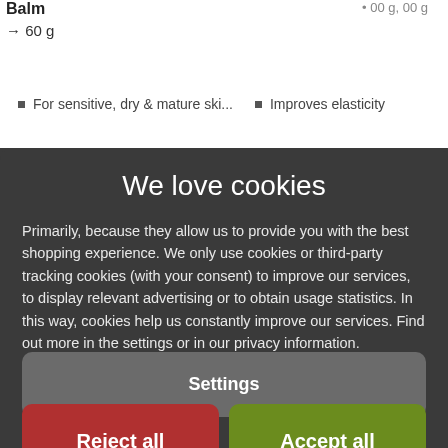Balm
→ 60 g
For sensitive, dry & mature ski...
Improves elasticity
We love cookies
Primarily, because they allow us to provide you with the best shopping experience. We only use cookies or third-party tracking cookies (with your consent) to improve our services, to display relevant advertising or to obtain usage statistics. In this way, cookies help us constantly improve our services. Find out more in the settings or in our privacy information. Data protection information
Settings
Reject all
Accept all